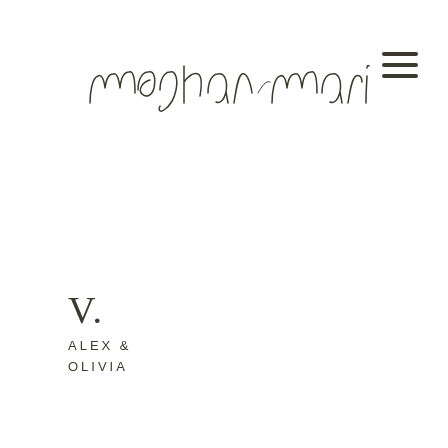[Figure (logo): Handwritten calligraphy script logo reading 'meghan marie']
[Figure (other): Hamburger menu icon — three horizontal lines stacked]
V.
ALEX &
OLIVIA